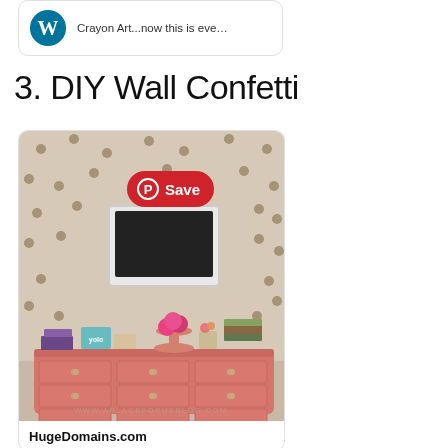[Figure (screenshot): Card with WordPress logo and text 'Crayon Art...now this is eve...']
3. DIY Wall Confetti
[Figure (photo): Room with polka dot wall, pink dresser, flowers, framed TV, and a Pinterest Save button overlay. Watermark: WWW.APLACEFORUSBLOG.COM]
HugeDomains.com